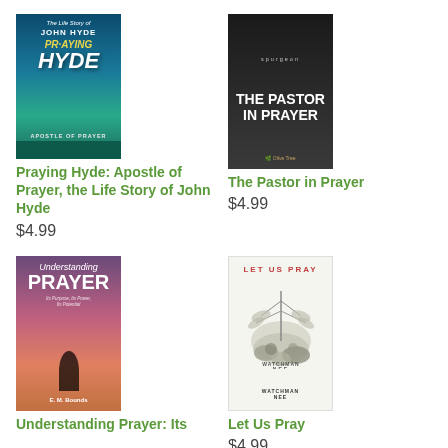[Figure (illustration): Book cover: Praying Hyde: Apostle of Prayer, the Life Story of John Hyde - teal/blue gradient cover with bold white text]
Praying Hyde: Apostle of Prayer, the Life Story of John Hyde
$4.99
[Figure (illustration): Book cover: The Pastor in Prayer - dark cover with man in suit, Spurgeon text at top]
The Pastor in Prayer
$4.99
[Figure (illustration): Book cover: Understanding Prayer - Its Purpose, Its Power, Its Potential by E. M. Bounds - purple/pink gradient with person silhouette]
Understanding Prayer: Its
[Figure (illustration): Book cover: Let Us Pray by Watchman Nee - white cover with botanical illustration]
Let Us Pray
$4.99